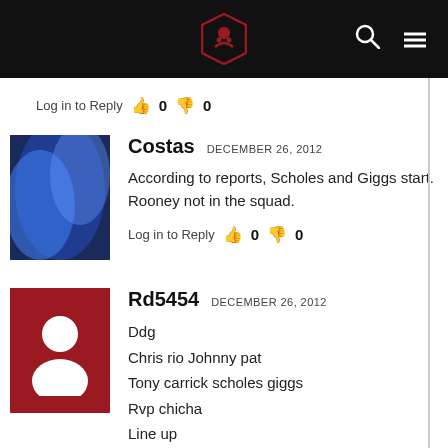Bold Matatu site header with logo, search icon, and menu icon
Log in to Reply  👍 0  👎 0
Costas  DECEMBER 26, 2012
According to reports, Scholes and Giggs start. Rooney not in the squad.
Log in to Reply  👍 0  👎 0
Rd5454  DECEMBER 26, 2012
Ddg
Chris rio Johnny pat
Tony carrick scholes giggs
Rvp chicha
Line up